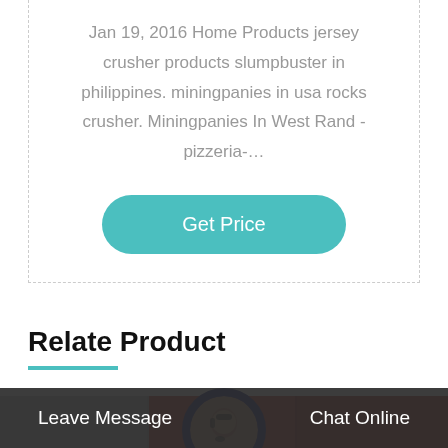Jan 19, 2016 Home Products jersey crusher products slumpbuster in philippines. miningpanies in usa rocks crusher. Miningpanies In West Rand - pizzeria-…
[Figure (other): A teal rounded rectangle button labeled 'Get Price']
Relate Product
[Figure (photo): A bottom strip showing product thumbnails partially visible, with a circular avatar of a female customer service agent wearing a headset, overlaid on a dark bottom bar]
Leave Message
Chat Online